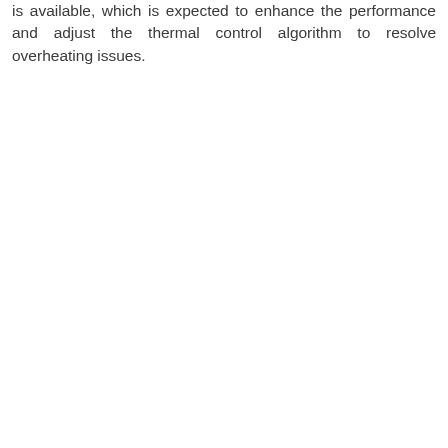is available, which is expected to enhance the performance and adjust the thermal control algorithm to resolve overheating issues.